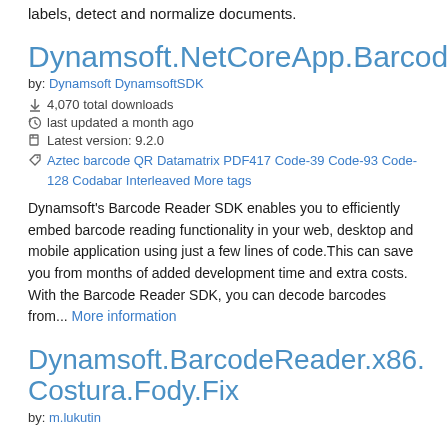labels, detect and normalize documents.
Dynamsoft.NetCoreApp.Barcode
by: Dynamsoft DynamsoftSDK
4,070 total downloads
last updated a month ago
Latest version: 9.2.0
Aztec barcode QR Datamatrix PDF417 Code-39 Code-93 Code-128 Codabar Interleaved More tags
Dynamsoft's Barcode Reader SDK enables you to efficiently embed barcode reading functionality in your web, desktop and mobile application using just a few lines of code.This can save you from months of added development time and extra costs. With the Barcode Reader SDK, you can decode barcodes from... More information
Dynamsoft.BarcodeReader.x86.Costura.Fody.Fix
by: m.lukutin